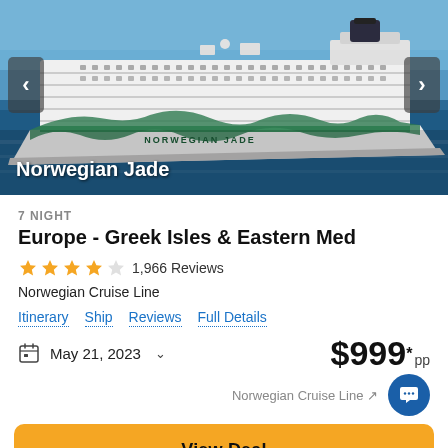[Figure (photo): Norwegian Jade cruise ship on blue ocean water, white hull with green dragon artwork painted on the bow, multiple passenger decks visible]
Norwegian Jade
7 NIGHT
Europe - Greek Isles & Eastern Med
1,966 Reviews
Norwegian Cruise Line
Itinerary
Ship
Reviews
Full Details
May 21, 2023
$999* pp
Norwegian Cruise Line ↗
View Deal